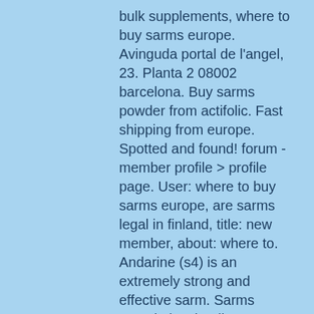bulk supplements, where to buy sarms europe. Avinguda portal de l'angel, 23. Planta 2 08002 barcelona. Buy sarms powder from actifolic. Fast shipping from europe. Spotted and found! forum - member profile &gt; profile page. User: where to buy sarms europe, are sarms legal in finland, title: new member, about: where to. Andarine (s4) is an extremely strong and effective sarm. Sarms canada is a leading supplier of sarms in north america and europe. Sarm heslop was reported missing from a boat off st john on 8 march 2021. Recently, the european medicines agency (ema) refused the marketing authorization for anamorelin due to its marginal effect on increasing muscle mass. Camo chem sarms | buy the european's best sarms &amp; peptides online store | europe &amp; u. Free and fast shipping | tested for purity. Sarms provided herein generally target anabolic tissue, such